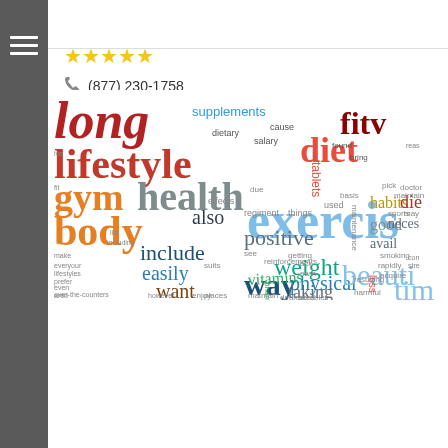[Figure (infographic): Word cloud with health and fitness related terms including lifestyle, gym, body, health, diet, exercise, fitness, weight, physical, beauty, vitamins, way, taking, include, easily, want, habits, good, positive, supplements, tablets, and many others in various colors (red, blue, orange, teal, dark red, light blue) and sizes.]
Get Medical Data Mining
★★★★★
(877) 230-1758
1905 Corporate Square Blvd, Jacksonville